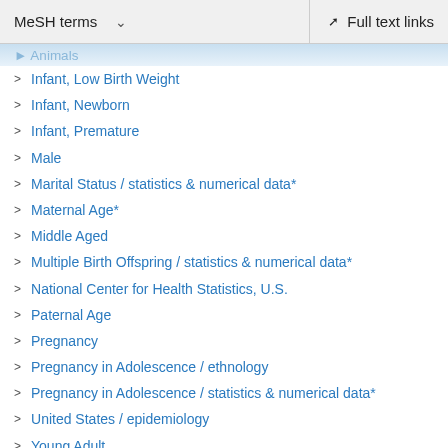MeSH terms  ∨   Full text links
Infant, Low Birth Weight
Infant, Newborn
Infant, Premature
Male
Marital Status / statistics & numerical data*
Maternal Age*
Middle Aged
Multiple Birth Offspring / statistics & numerical data*
National Center for Health Statistics, U.S.
Paternal Age
Pregnancy
Pregnancy in Adolescence / ethnology
Pregnancy in Adolescence / statistics & numerical data*
United States / epidemiology
Young Adult